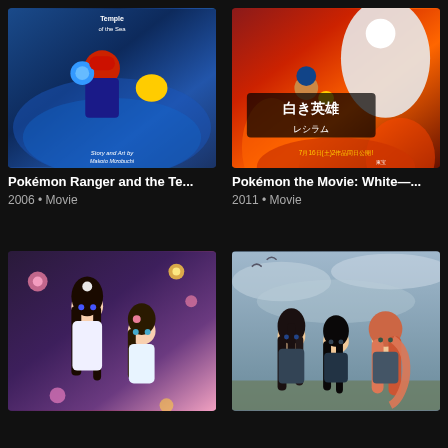[Figure (illustration): Pokémon Ranger and the Temple of the Sea movie/manga poster showing Ash with red cap, Pikachu, and water Pokémon on blue background. Text reads 'Story and Art by Makoto Mizobuchi']
Pokémon Ranger and the Te...
2006 • Movie
[Figure (illustration): Pokémon the Movie: White poster showing Ash, Pikachu, and various Pokémon with Japanese text and fire/orange background. Text shows '7月16日(土)2作品同日公開!' and '白き英雄ゼクロム']
Pokémon the Movie: White—...
2011 • Movie
[Figure (illustration): Anime illustration showing two anime girls with long dark hair, one taller with hair accessory and one shorter/chibi style, with flowers in background]
[Figure (illustration): Anime illustration showing three girls with long hair (dark, dark, and pink/auburn) against a cloudy sky background]